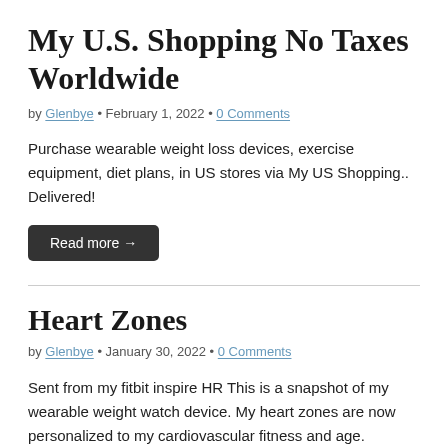My U.S. Shopping No Taxes Worldwide
by Glenbye • February 1, 2022 • 0 Comments
Purchase wearable weight loss devices, exercise equipment, diet plans, in US stores via My US Shopping.. Delivered!
Read more →
Heart Zones
by Glenbye • January 30, 2022 • 0 Comments
Sent from my fitbit inspire HR This is a snapshot of my wearable weight watch device. My heart zones are now personalized to my cardiovascular fitness and age.